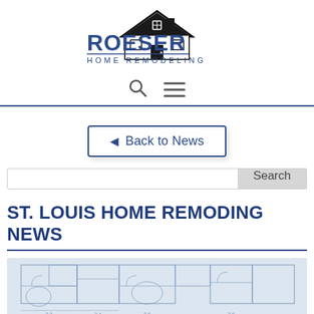[Figure (logo): Roeser Home Remodeling logo with house silhouette and text]
[Figure (infographic): Navigation icons: search magnifying glass and hamburger menu]
◄  Back to News
Search
ST. LOUIS HOME REMODING NEWS
[Figure (photo): Architectural floor plan blueprint drawing]